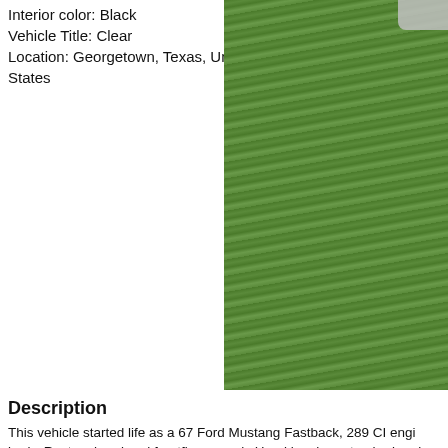Interior color: Black
Vehicle Title: Clear
Location: Georgetown, Texas, United States
[Figure (photo): Photo of a classic Ford Mustang Fastback on green grass, partially visible on the right side of the page. A green navigation button with a left arrow is overlaid on the left edge of the photo.]
Description
This vehicle started life as a 67 Ford Mustang Fastback, 289 CI engi body. Rust on hood and frontfloor panels.Hood has been trashed and has been done: Eleanor body panels from Rebel Mustang in LaHabra the original bucks - ?) 67 Cougar taillight housings and aftermarket le weather stripping and rubber. Fully functional locking billet gas cap. M Interior. Sport seats with 3" four point seat belts. (I have the sub belt b Newdash bezel and lens. Grant woodsteering wheel. Custom control Auto Meter oil temperature and oil pressure gauges. New cablesfor te brass heater core, reconditioned heaterbox. Billet emergencybrake ha "C" weld on back of block) Bored 30 over. Assembly by Blue Monkey Medium riser polished aluminum intake manifold. PSM headers. MSD Holley 750 cfm double pumper carburetor. (4779-6) Billet high flow oi off. Stainless fittings.Tilton mini torque starter. Milodon stainless dipst flowmufflers. 110 Amp chrome alternator.Dyno results:487.7 pounds t RPM. Three speed with overdrive OEM Ford transmission. Ratios 3.2 gears and a traction lock limited slip differential. Hurst 4 speed shifte